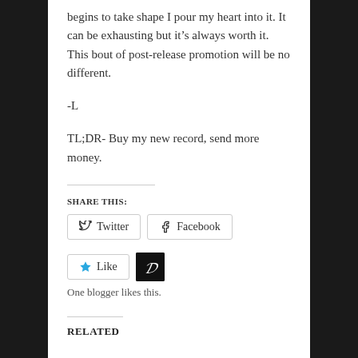begins to take shape I pour my heart into it. It can be exhausting but it's always worth it. This bout of post-release promotion will be no different.
-L
TL;DR- Buy my new record, send more money.
SHARE THIS:
Twitter  Facebook
Like  One blogger likes this.
RELATED